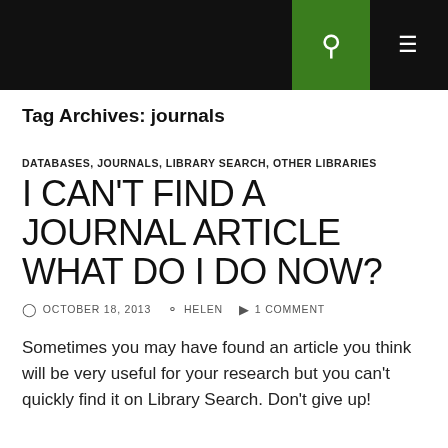Tag Archives: journals
DATABASES, JOURNALS, LIBRARY SEARCH, OTHER LIBRARIES
I CAN'T FIND A JOURNAL ARTICLE WHAT DO I DO NOW?
OCTOBER 18, 2013  HELEN  1 COMMENT
Sometimes you may have found an article you think will be very useful for your research but you can't quickly find it on Library Search. Don't give up!